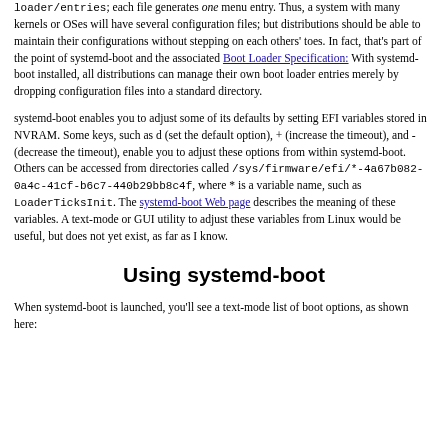loader/entries; each file generates one menu entry. Thus, a system with many kernels or OSes will have several configuration files; but distributions should be able to maintain their configurations without stepping on each others' toes. In fact, that's part of the point of systemd-boot and the associated Boot Loader Specification: With systemd-boot installed, all distributions can manage their own boot loader entries merely by dropping configuration files into a standard directory.
systemd-boot enables you to adjust some of its defaults by setting EFI variables stored in NVRAM. Some keys, such as d (set the default option), + (increase the timeout), and - (decrease the timeout), enable you to adjust these options from within systemd-boot. Others can be accessed from directories called /sys/firmware/efi/*-4a67b082-0a4c-41cf-b6c7-440b29bb8c4f, where * is a variable name, such as LoaderTicksInit. The systemd-boot Web page describes the meaning of these variables. A text-mode or GUI utility to adjust these variables from Linux would be useful, but does not yet exist, as far as I know.
Using systemd-boot
When systemd-boot is launched, you'll see a text-mode list of boot options, as shown here: